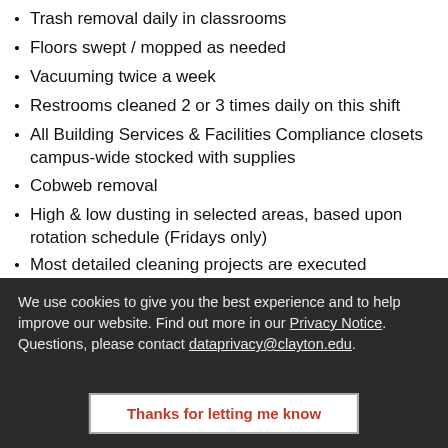Trash removal daily in classrooms
Floors swept / mopped as needed
Vacuuming twice a week
Restrooms cleaned 2 or 3 times daily on this shift
All Building Services & Facilities Compliance closets campus-wide stocked with supplies
Cobweb removal
High & low dusting in selected areas, based upon rotation schedule (Fridays only)
Most detailed cleaning projects are executed campus-wide on Fridays
Pressure washing buildings during semester breaks
We use cookies to give you the best experience and to help improve our website. Find out more in our Privacy Notice. Questions, please contact dataprivacy@clayton.edu.
Thanks for letting me know